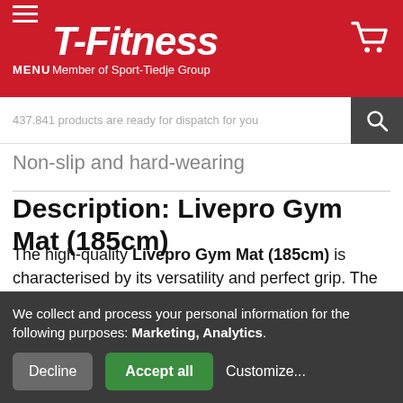[Figure (logo): T-Fitness logo with red background, hamburger menu icon, MENU text, and shopping cart icon. Text: T-Fitness, Member of Sport-Tiedje Group]
437.841 products are ready for dispatch for you
Non-slip and hard-wearing
Description: Livepro Gym Mat (185cm)
The high-quality Livepro Gym Mat (185cm) is characterised by its versatility and perfect grip. The high-quality Livepro Gym Mat (185cm) is perfect for use at home and in the studio. The training mat is very hard-
We collect and process your personal information for the following purposes: Marketing, Analytics.
Decline  Accept all  Customize...